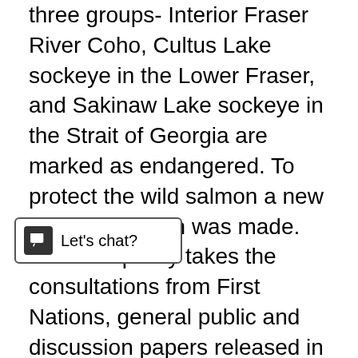three groups- Interior Fraser River Coho, Cultus Lake sockeye in the Lower Fraser, and Sakinaw Lake sockeye in the Strait of Georgia are marked as endangered. To protect the wild salmon a new policy approach was made. This wild policy takes the consultations from First Nations, general public and discussion papers released in 2000, 2004 and 2005. The main focus of the policy is to conserve the wild salmon and to preserve their habitat in B.C. and Yukon. This policy explains how DFO (department of Fisheries and Oceans Canada) will work to conserve wild pacific salmon. The success of this policy will provide following benefits to the [s supply of wild salmon to the future generations, To operate the fish farms in sustainable way by meeting the needs of the first nations and by thinking about present and